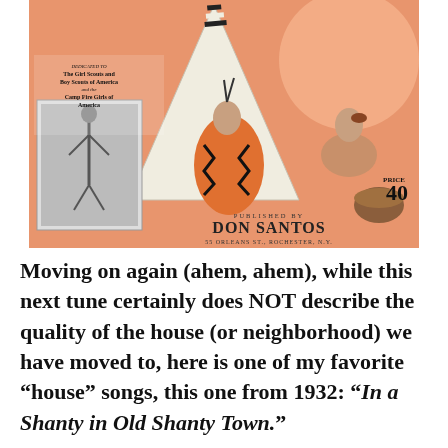[Figure (illustration): Vintage sheet music cover published by Don Santos, 55 Orleans St., Rochester NY. Features Native American imagery with a teepee, figures in traditional dress with orange and black zigzag patterns, and a woman seated with pottery. Dedicated to The Girl Scouts and Boy Scouts of America and the Camp Fire Girls of America. Price 40 cents. A small black-and-white inset photo shows a figure in ceremonial dance dress.]
Moving on again (ahem, ahem), while this next tune certainly does NOT describe the quality of the house (or neighborhood) we have moved to, here is one of my favorite “house” songs, this one from 1932: “In a Shanty in Old Shanty Town.”